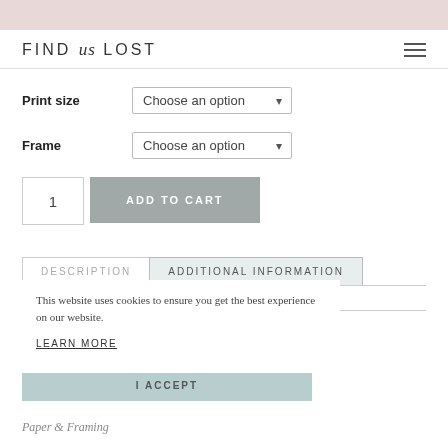FIND us LOST
Print size  Choose an option
Frame  Choose an option
1  ADD TO CART
DESCRIPTION  ADDITIONAL INFORMATION
This website uses cookies to ensure you get the best experience on our website.
LEARN MORE
DESCRIPTION
I ACCEPT
Paper & Framing